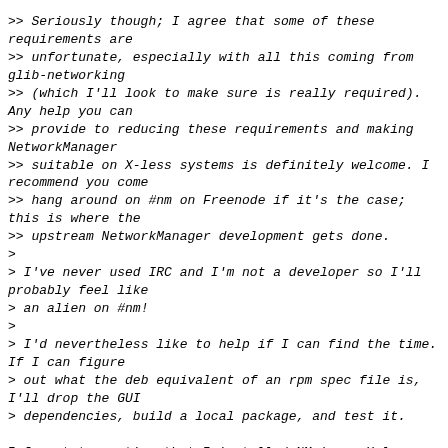>> Seriously though; I agree that some of these requirements are
>> unfortunate, especially with all this coming from glib-networking
>> (which I'll look to make sure is really required). Any help you can
>> provide to reducing these requirements and making NetworkManager
>> suitable on X-less systems is definitely welcome. I recommend you come
>> hang around on #nm on Freenode if it's the case; this is where the
>> upstream NetworkManager development gets done.
>
> I've never used IRC and I'm not a developer so I'll probably feel like
> an alien on #nm!
>
> I'd nevertheless like to help if I can find the time. If I can figure
> out what the deb equivalent of an rpm spec file is, I'll drop the GUI
> dependencies, build a local package, and test it.

I forgot to mention that I installed NM in an X-less Debian 7 VM. Both
the "Depends" and Recommends" are far fewer, so it *ought* to work on
Ubuntu too.